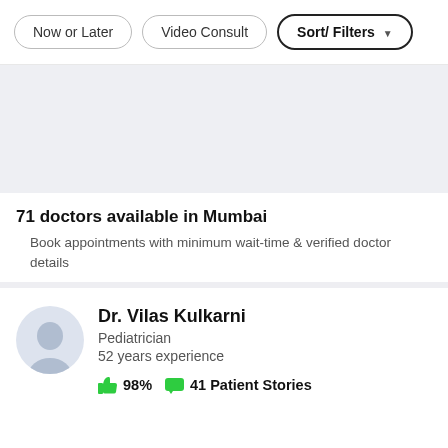[Figure (screenshot): Top filter bar with three pill-shaped buttons: 'Now or Later', 'Video Consult', and 'Sort/ Filters ▼' (the last one has a bold border)]
[Figure (other): Gray advertisement banner area]
71 doctors available in Mumbai
Book appointments with minimum wait-time & verified doctor details
Dr. Vilas Kulkarni
Pediatrician
52 years experience
98%  41 Patient Stories